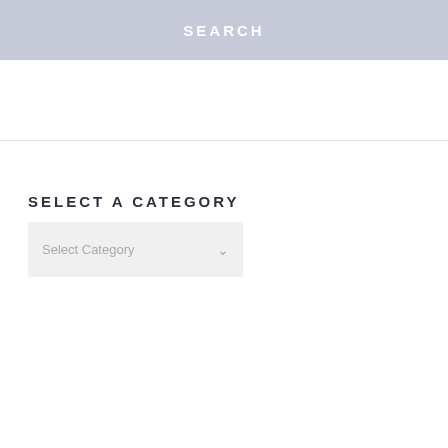SEARCH
SELECT A CATEGORY
[Figure (screenshot): A dropdown UI element labeled 'Select Category' with a chevron arrow on the right, styled with a light gray background.]